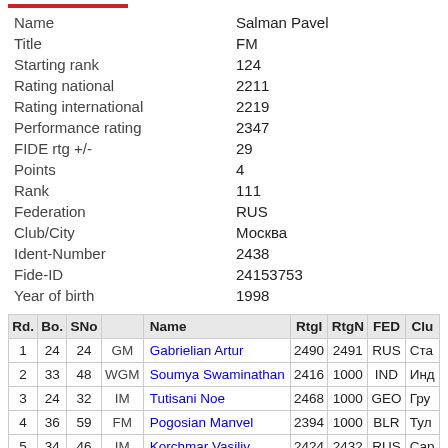| Name | Salman Pavel |
| Title | FM |
| Starting rank | 124 |
| Rating national | 2211 |
| Rating international | 2219 |
| Performance rating | 2347 |
| FIDE rtg +/- | 29 |
| Points | 4 |
| Rank | 111 |
| Federation | RUS |
| Club/City | Москва |
| Ident-Number | 2438 |
| Fide-ID | 24153753 |
| Year of birth | 1998 |
| Rd. | Bo. | SNo |  | Name | RtgI | RtgN | FED | Clu |
| --- | --- | --- | --- | --- | --- | --- | --- | --- |
| 1 | 24 | 24 | GM | Gabrielian Artur | 2490 | 2491 | RUS | Ста |
| 2 | 33 | 48 | WGM | Soumya Swaminathan | 2416 | 1000 | IND | Инд |
| 3 | 24 | 32 | IM | Tutisani Noe | 2468 | 1000 | GEO | Гру |
| 4 | 36 | 59 | FM | Pogosian Manvel | 2394 | 1000 | BLR | Тул |
| 5 | 34 | 46 | IM | Korchmar Vasiliy | 2424 | 2432 | RUS | Сар |
| 6 | 47 | 65 |  | Barseghyan Armen Ar. | 2380 | 1000 | ARM | Арм |